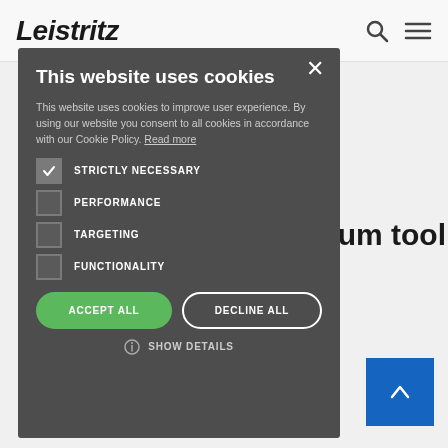[Figure (screenshot): Leistritz website header with logo, search icon, and hamburger menu icon]
maximum tool
[Figure (screenshot): Cookie consent modal dialog on Leistritz website with options: Strictly Necessary (checked), Performance, Targeting, Functionality, Accept All and Decline All buttons, and Show Details link]
This website uses cookies
This website uses cookies to improve user experience. By using our website you consent to all cookies in accordance with our Cookie Policy. Read more
STRICTLY NECESSARY
PERFORMANCE
TARGETING
FUNCTIONALITY
ACCEPT ALL
DECLINE ALL
SHOW DETAILS